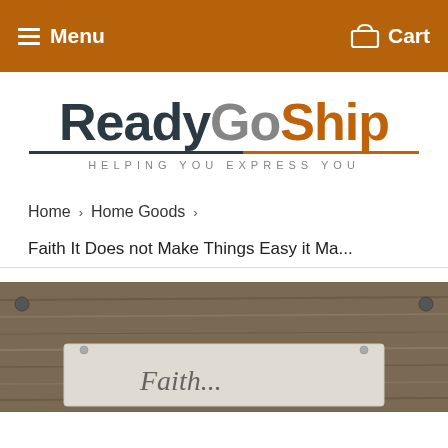Menu   Cart
[Figure (logo): ReadyGoShip logo with tagline 'HELPING YOU EXPRESS YOU'. 'Ready' in dark teal/navy, 'Go' in gray, 'Ship' in orange, with an underline and spaced-letter tagline below.]
Home › Home Goods ›
Faith It Does not Make Things Easy it Ma...
[Figure (photo): Bottom portion of a product photo showing a rustic wooden background with a metal sign partially visible.]